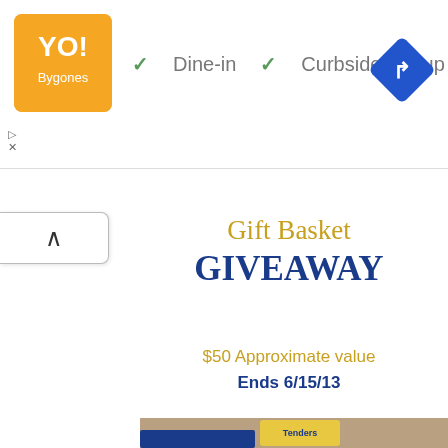[Figure (screenshot): Ad banner with orange logo showing stylized text, dine-in and curbside pickup options with checkmarks, and a blue navigation diamond icon on the right]
▷
✕
Gift Basket
GIVEAWAY
$50 Approximate value
Ends 6/15/13
[Figure (photo): Photo of a blue apron, blue oven mitts with yellow logo, a black spatula with white handle labeled Gartons, and a yellow box of Garton's Tenders Original Batter chicken tenders, all on a wooden surface]